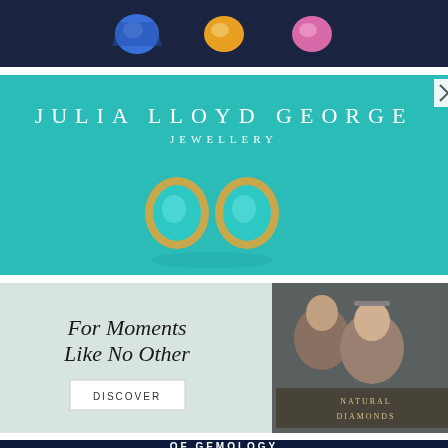[Figure (illustration): Dark navy banner with three gemstones: blue sapphire, yellow/orange topaz, pink tourmaline on a dark background.]
[Figure (illustration): Julia Lloyd George Jewellery advertisement. Teal/turquoise background with brand name in spaced white letters. Two oval turquoise gemstone earrings in gold bezel settings are displayed. X close button in top-right corner.]
[Figure (illustration): Natural Diamonds advertisement. Light mint/sage green left panel with italic serif text 'For Moments Like No Other' and a 'DISCOVER' button. Right panel shows a couple in a romantic moment with 'NATURAL DIAMONDS' text overlay.]
[Figure (illustration): Of Gemology banner. Dark blue background with a large glittering blue gemstone/diamond. Bold white text reads 'OF GEMOLOGY'.]
[Figure (illustration): HRD Antwerp Design Awards advertisement. Dark charcoal/black background with flowing fabric. Text: '18th EDITION', star icon, 'HRD Antwerp Design Awards'. Bottom row: 'Under High Patronage of' with World Jewellery Confederation logo, 'In Partnership with' with VO logo.]
[Figure (illustration): Partial banner at bottom: teal/cyan background with white text 'Domino rings now available with' and partial image of ring on right side.]